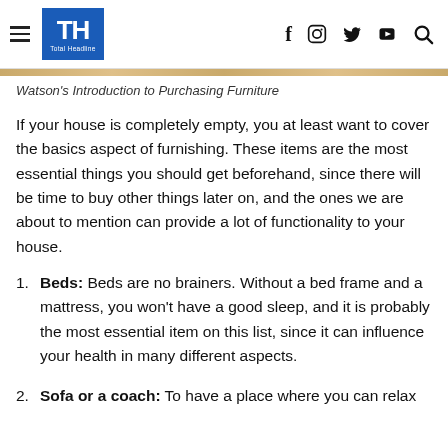TH Total Headline — navigation icons: f, instagram, twitter, youtube, search
Watson's Introduction to Purchasing Furniture
If your house is completely empty, you at least want to cover the basics aspect of furnishing. These items are the most essential things you should get beforehand, since there will be time to buy other things later on, and the ones we are about to mention can provide a lot of functionality to your house.
Beds: Beds are no brainers. Without a bed frame and a mattress, you won't have a good sleep, and it is probably the most essential item on this list, since it can influence your health in many different aspects.
Sofa or a coach: To have a place where you can relax